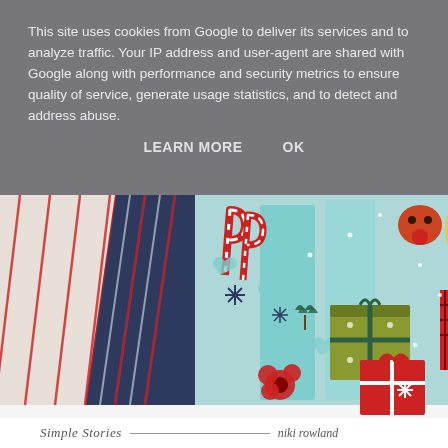This site uses cookies from Google to deliver its services and to analyze traffic. Your IP address and user-agent are shared with Google along with performance and security metrics to ensure quality of service, generate usage statistics, and to detect and address abuse.
LEARN MORE    OK
[Figure (photo): Christmas-themed scrapbook layout photo showing a smiling blonde woman in a pink jacket surrounded by holiday decorations including candy canes, gift boxes with ribbons, snowflakes, and festive embellishments in red, green, teal, and navy.]
Simple Stories _________________________ niki rowland